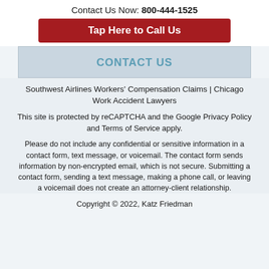Contact Us Now: 800-444-1525
Tap Here to Call Us
CONTACT US
Southwest Airlines Workers' Compensation Claims | Chicago Work Accident Lawyers
This site is protected by reCAPTCHA and the Google Privacy Policy and Terms of Service apply.
Please do not include any confidential or sensitive information in a contact form, text message, or voicemail. The contact form sends information by non-encrypted email, which is not secure. Submitting a contact form, sending a text message, making a phone call, or leaving a voicemail does not create an attorney-client relationship.
Copyright © 2022, Katz Friedman